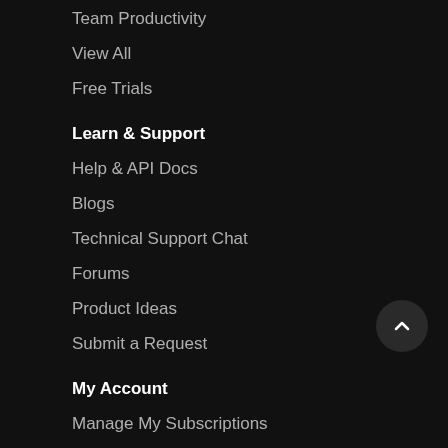Team Productivity
View All
Free Trials
Learn & Support
Help & API Docs
Blogs
Technical Support Chat
Forums
Product Ideas
Submit a Request
My Account
Manage My Subscriptions
Support Requests
Corporate
About Us